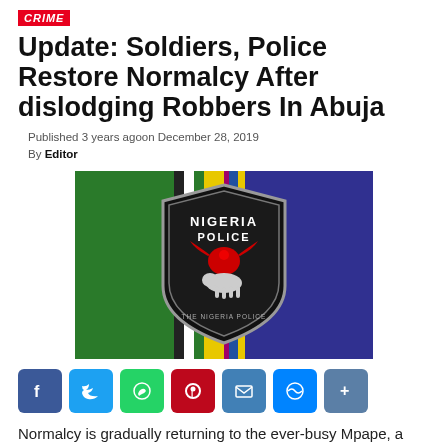CRIME
Update: Soldiers, Police Restore Normalcy After dislodging Robbers In Abuja
Published 3 years agoon December 28, 2019
By Editor
[Figure (photo): Nigeria Police Force badge/logo on a green, yellow, and blue background]
[Figure (infographic): Social media share buttons: Facebook, Twitter, WhatsApp, Pinterest, Email, Messenger, More]
Normalcy is gradually returning to the ever-busy Mpape, a sitellite town in the Federal Capital Territory after soldiers